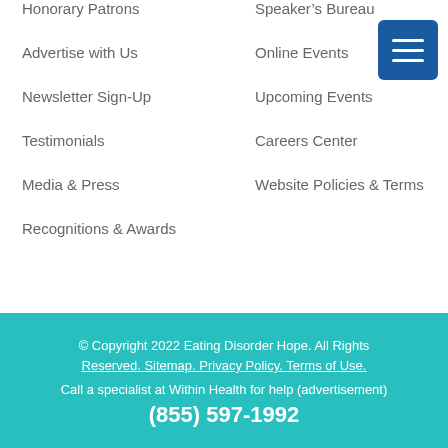Honorary Patrons
Advertise with Us
Newsletter Sign-Up
Testimonials
Media & Press
Recognitions & Awards
Speaker’s Bureau
Online Events
Upcoming Events
Careers Center
Website Policies & Terms
© Copyright 2022 Eating Disorder Hope. All Rights Reserved. Sitemap. Privacy Policy. Terms of Use. Call a specialist at Within Health for help (advertisement) (855) 597-1992